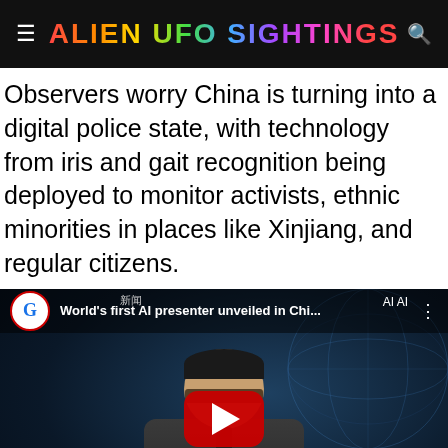ALIEN UFO SIGHTINGS
Observers worry China is turning into a digital police state, with technology from iris and gait recognition being deployed to monitor activists, ethnic minorities in places like Xinjiang, and regular citizens.
[Figure (screenshot): YouTube video thumbnail showing a news presenter (AI anchor) in a suit with glasses. The Guardian logo and channel branding visible. Title reads 'World's first AI presenter unveiled in Chi...' with a red YouTube play button overlay. The Guardian logo and Privacy Policy button visible at bottom.]